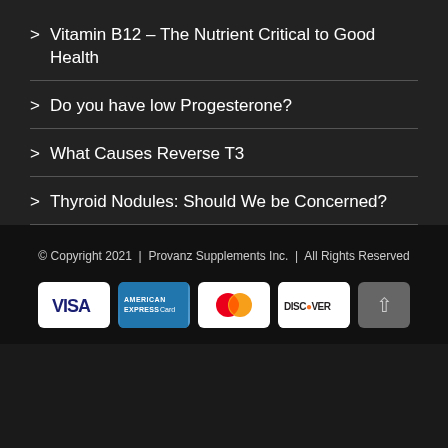Vitamin B12 – The Nutrient Critical to Good Health
Do you have low Progesterone?
What Causes Reverse T3
Thyroid Nodules: Should We be Concerned?
© Copyright 2021  |  Provanz Supplements Inc.  |  All Rights Reserved
[Figure (other): Payment method icons: Visa, American Express, Mastercard, Discover, and a back-to-top arrow button]